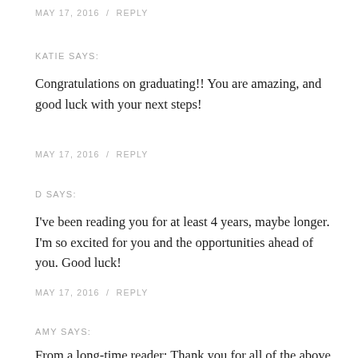MAY 17, 2016 / REPLY
KATIE SAYS:
Congratulations on graduating!! You are amazing, and good luck with your next steps!
MAY 17, 2016 / REPLY
D SAYS:
I've been reading you for at least 4 years, maybe longer. I'm so excited for you and the opportunities ahead of you. Good luck!
MAY 17, 2016 / REPLY
AMY SAYS:
From a long-time reader: Thank you for all of the above – for